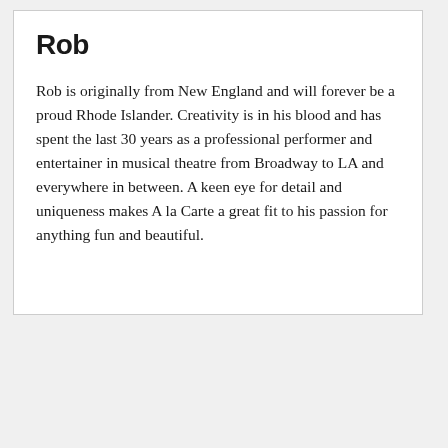Rob
Rob is originally from New England and will forever be a proud Rhode Islander. Creativity is in his blood and has spent the last 30 years as a professional performer and entertainer in musical theatre from Broadway to LA and everywhere in between. A keen eye for detail and uniqueness makes A la Carte a great fit to his passion for anything fun and beautiful.